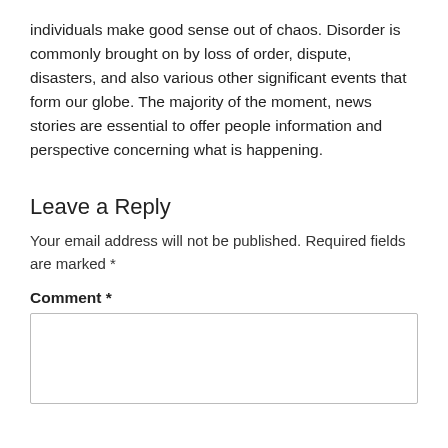individuals make good sense out of chaos. Disorder is commonly brought on by loss of order, dispute, disasters, and also various other significant events that form our globe. The majority of the moment, news stories are essential to offer people information and perspective concerning what is happening.
Leave a Reply
Your email address will not be published. Required fields are marked *
Comment *